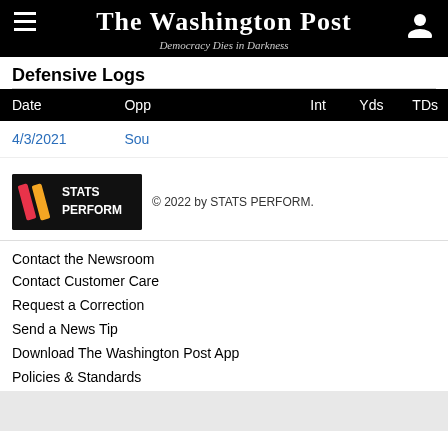The Washington Post — Democracy Dies in Darkness
Defensive Logs
| Date | Opp | Int | Yds | TDs |
| --- | --- | --- | --- | --- |
| 4/3/2021 | Sou |  |  |  |
[Figure (logo): STATS PERFORM logo on black background with colored slash marks]
© 2022 by STATS PERFORM.
Contact the Newsroom
Contact Customer Care
Request a Correction
Send a News Tip
Download The Washington Post App
Policies & Standards